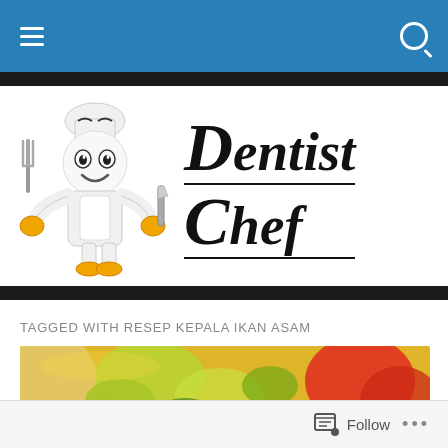Navigation bar with hamburger menu and search icon
[Figure (logo): Dentist Chef logo: cartoon chef character holding fork and knife with 'Dentist Chef' in italic serif font]
TAGGED WITH RESEP KEPALA IKAN ASAM
[Figure (photo): Close-up photo of Indonesian fish head curry dish (kepala ikan asam) with vegetables in yellow broth, showing red tomatoes and green vegetables]
Follow ...